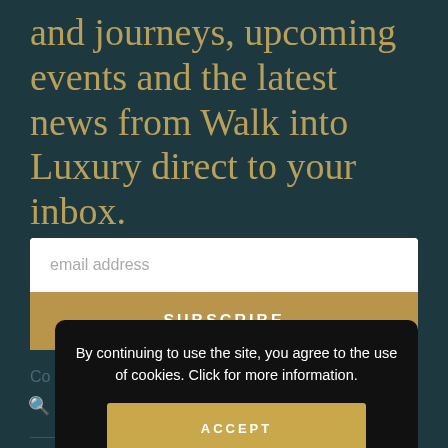and journeys, upcoming events and the latest news from Walk into Luxury direct to your inbox.
email address
SUBSCRIBE
By continuing to use the site, you agree to the use of cookies. Click for more information.
ACCEPT
Co